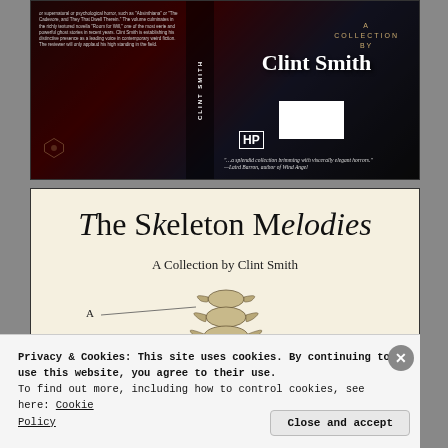[Figure (photo): Book cover of 'The Skeleton Melodies: A Collection by Clint Smith' showing dark red and black atmospheric design with author name in large white serif font, HP publisher logo, collection blurb text, and a quote.]
[Figure (illustration): Interior book page showing title 'The Skeleton Melodies' in large blackletter/serif font, subtitle 'A Collection by Clint Smith', and a vintage anatomical illustration of a spine/vertebrae with labels A, B, C, D.]
Privacy & Cookies: This site uses cookies. By continuing to use this website, you agree to their use.
To find out more, including how to control cookies, see here: Cookie Policy
Close and accept